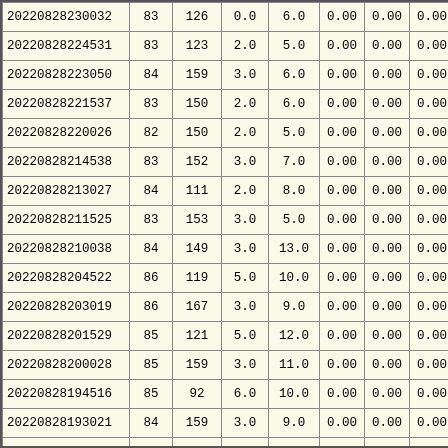| ID | C1 | C2 | C3 | C4 | C5 | C6 | C7 | C8 |
| --- | --- | --- | --- | --- | --- | --- | --- | --- |
| 20220828230032 | 83 | 126 | 0.0 | 6.0 | 0.00 | 0.00 | 0.00 | 6 |
| 20220828224531 | 83 | 123 | 2.0 | 5.0 | 0.00 | 0.00 | 0.00 | 6 |
| 20220828223050 | 84 | 159 | 3.0 | 6.0 | 0.00 | 0.00 | 0.00 | 6 |
| 20220828221537 | 83 | 150 | 2.0 | 6.0 | 0.00 | 0.00 | 0.00 | 6 |
| 20220828220026 | 82 | 150 | 2.0 | 5.0 | 0.00 | 0.00 | 0.00 | 6 |
| 20220828214538 | 83 | 152 | 3.0 | 7.0 | 0.00 | 0.00 | 0.00 | 6 |
| 20220828213027 | 84 | 111 | 2.0 | 8.0 | 0.00 | 0.00 | 0.00 | 6 |
| 20220828211525 | 83 | 153 | 3.0 | 5.0 | 0.00 | 0.00 | 0.00 | 6 |
| 20220828210038 | 84 | 149 | 3.0 | 13.0 | 0.00 | 0.00 | 0.00 | 6 |
| 20220828204522 | 86 | 119 | 5.0 | 10.0 | 0.00 | 0.00 | 0.00 | 6 |
| 20220828203019 | 86 | 167 | 3.0 | 9.0 | 0.00 | 0.00 | 0.00 | 6 |
| 20220828201529 | 85 | 121 | 5.0 | 12.0 | 0.00 | 0.00 | 0.00 | 6 |
| 20220828200028 | 85 | 159 | 3.0 | 11.0 | 0.00 | 0.00 | 0.00 | 6 |
| 20220828194516 | 85 | 92 | 6.0 | 10.0 | 0.00 | 0.00 | 0.00 | 6 |
| 20220828193021 | 84 | 159 | 3.0 | 9.0 | 0.00 | 0.00 | 0.00 | 6 |
| 20220828191510 | 84 | 119 | 4.0 | 9.0 | 0.00 | 0.00 | 0.00 | 6 |
| 20220828190012 | 84 | 136 | 5.0 | 15.0 | 0.00 | 0.00 | 0.00 | 6 |
| 20220828184517 | 84 | 163 | 3.0 | 10.0 | 0.00 | 0.00 | 0.00 | 6 |